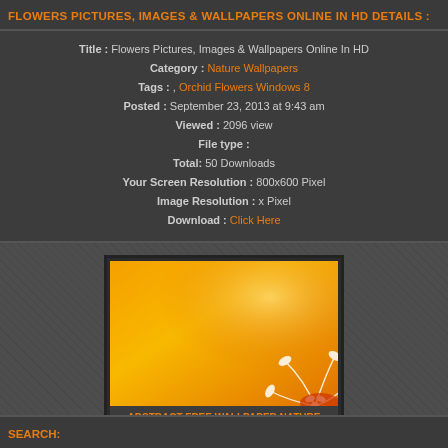FLOWERS PICTURES, IMAGES & WALLPAPERS ONLINE IN HD DETAILS :
Title : Flowers Pictures, Images & Wallpapers Online In HD
Category : Nature Wallpapers
Tags : , Orchid Flowers Windows 8
Posted : September 23, 2013 at 9:43 am
Viewed : 2096 view
File type :
Total: 50 Downloads
Your Screen Resolution : 800x600 Pixel
Image Resolution : x Pixel
Download : Click Here
[Figure (photo): Orange gradient abstract wallpaper with white floral decoration in the bottom right corner]
ABSTRACT FREE WALLPAPER NATURE PHOTOS
2569x1600 px | 1630 Views
SEARCH: